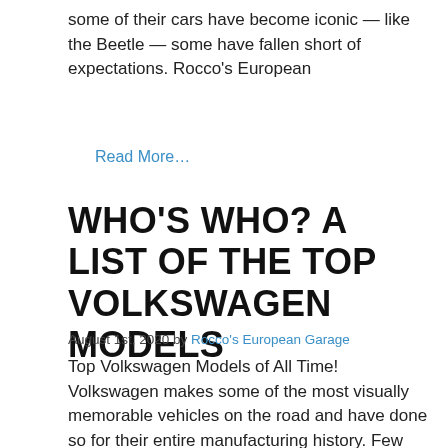some of their cars have become iconic — like the Beetle — some have fallen short of expectations. Rocco's European
Read More…
WHO'S WHO? A LIST OF THE TOP VOLKSWAGEN MODELS
August 1st, 2020 by Rocco's European Garage
Top Volkswagen Models of All Time! Volkswagen makes some of the most visually memorable vehicles on the road and have done so for their entire manufacturing history. Few people can pass a VW Beetle without smiling or a VW Bus without making a peace sign. However, there are a few models that don't receive the